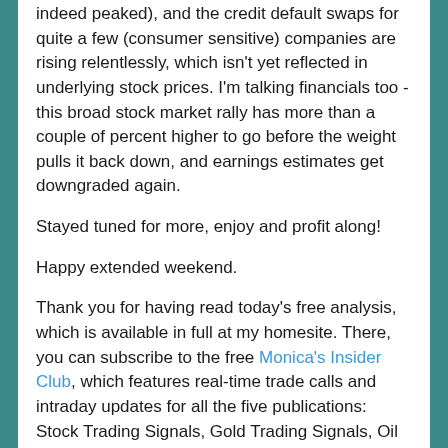indeed peaked), and the credit default swaps for quite a few (consumer sensitive) companies are rising relentlessly, which isn't yet reflected in underlying stock prices. I'm talking financials too - this broad stock market rally has more than a couple of percent higher to go before the weight pulls it back down, and earnings estimates get downgraded again.
Stayed tuned for more, enjoy and profit along!
Happy extended weekend.
Thank you for having read today's free analysis, which is available in full at my homesite. There, you can subscribe to the free Monica's Insider Club, which features real-time trade calls and intraday updates for all the five publications: Stock Trading Signals, Gold Trading Signals, Oil Trading Signals, Copper Trading Signals and Bitcoin Trading Signals.
Thank you,